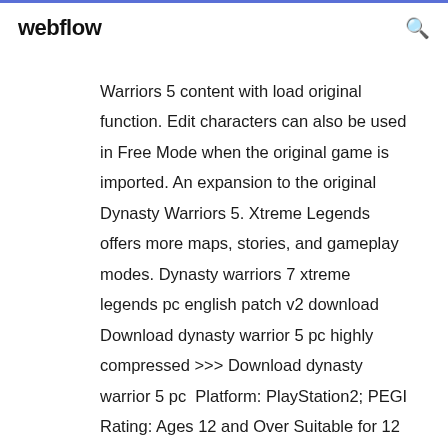webflow
Warriors 5 content with load original function. Edit characters can also be used in Free Mode when the original game is imported. An expansion to the original Dynasty Warriors 5. Xtreme Legends offers more maps, stories, and gameplay modes. Dynasty warriors 7 xtreme legends pc english patch v2 download Download dynasty warrior 5 pc highly compressed >>> Download dynasty warrior 5 pc  Platform: PlayStation2; PEGI Rating: Ages 12 and Over Suitable for 12 years and over. Not for sale to persons under age 12. By placing an order for this product,